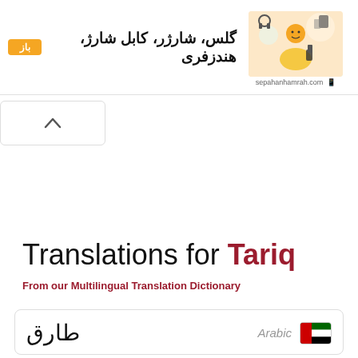[Figure (infographic): Advertisement banner for sepahanhamrah.com showing Persian text for glass, charger, charging cable, hands-free accessories with an orange badge and a person image]
باز
گلس، شارژر، کابل شارژ، هندزفری
sepahanhamrah.com
Translations for Tariq
From our Multilingual Translation Dictionary
| Word | Language | Flag |
| --- | --- | --- |
| طارق | Arabic |  |